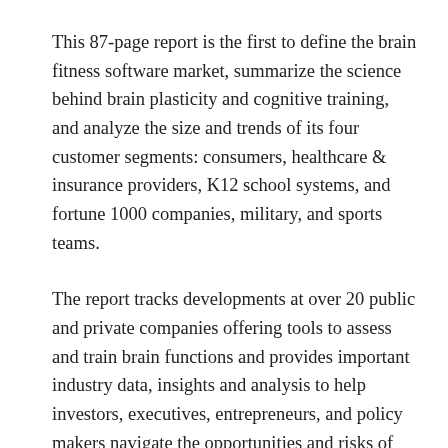This 87-page report is the first to define the brain fitness software market, summarize the science behind brain plasticity and cognitive training, and analyze the size and trends of its four customer segments: consumers, healthcare & insurance providers, K12 school systems, and fortune 1000 companies, military, and sports teams.
The report tracks developments at over 20 public and private companies offering tools to assess and train brain functions and provides important industry data, insights and analysis to help investors, executives, entrepreneurs, and policy makers navigate the opportunities and risks of this rapidly growing market. The report discusses the implications of cognitive science on healthy aging and a number of disorders such as attention deficits, dyslexia, stroke and traumatic brain...